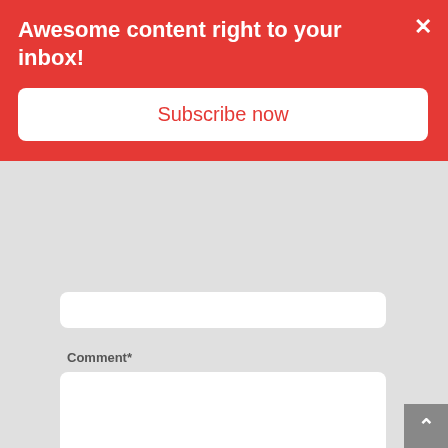Awesome content right to your inbox!
Subscribe now
Comment*
[Figure (screenshot): Empty comment textarea input field]
[Figure (screenshot): reCAPTCHA widget with 'protected by reCAPTCHA' text, Privacy and Terms links, and reCAPTCHA logo icon]
protected by reCAPTCHA
Privacy · Terms